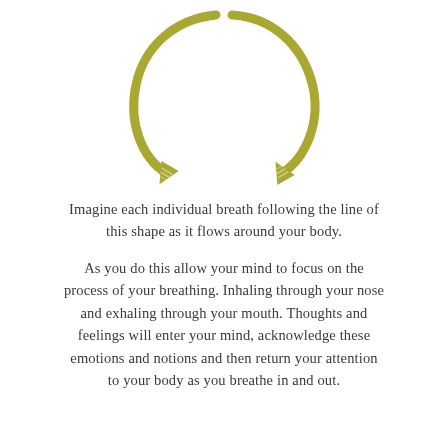[Figure (illustration): A circular recycling-style arrow illustration drawn in olive/yellow-green sketchy style, with two curved arrows forming a circle — one pointing downward-left at the bottom-left and one pointing downward-right at the bottom-right, suggesting a continuous cycle or flow.]
Imagine each individual breath following the line of this shape as it flows around your body.
As you do this allow your mind to focus on the process of your breathing. Inhaling through your nose and exhaling through your mouth. Thoughts and feelings will enter your mind, acknowledge these emotions and notions and then return your attention to your body as you breathe in and out.